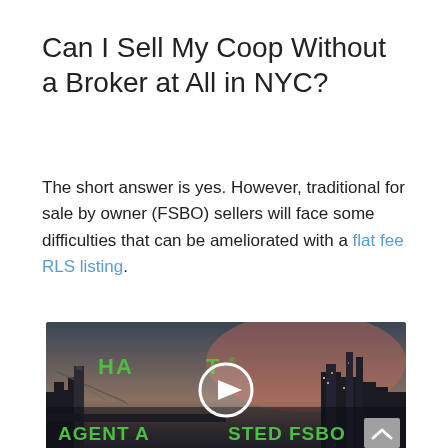Can I Sell My Coop Without a Broker at All in NYC?
The short answer is yes. However, traditional for sale by owner (FSBO) sellers will face some difficulties that can be ameliorated with a flat fee RLS listing.
[Figure (screenshot): Video thumbnail showing New York City skyline at dusk with Brooklyn Bridge, overlaid with green text reading 'HARVEST® AGENT ASSISTED FSBO' and a circular play button in the center. A gray scroll-to-top arrow button is in the bottom right corner.]